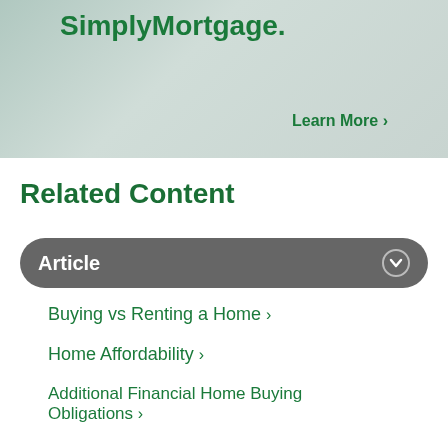[Figure (photo): Banner advertisement for SimplyMortgage with couple in background, green text reading SimplyMortgage and Learn More link]
Related Content
Article
Buying vs Renting a Home ›
Home Affordability ›
Additional Financial Home Buying Obligations ›
Buying a Vacation Home ›
Building a Home Buying Team ›
How Home Construction Loans Work ›